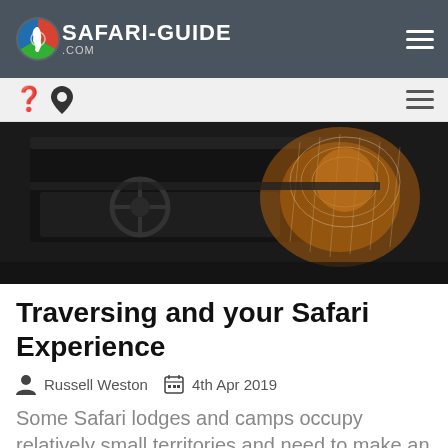SAFARI-GUIDE .COM
[Figure (screenshot): Website sub-navigation bar with location pin icon on left and hamburger menu on right, on a light grey background]
[Figure (photo): Dark interior photo of a safari vehicle showing dashboard and steering wheel on left, and a person with a mosquito net draped over them in warm light on the right]
Traversing and your Safari Experience
Russell Weston   4th Apr 2019
Some Safari lodges and camps occupy relatively small territories and need to make an arrangement with the larger land